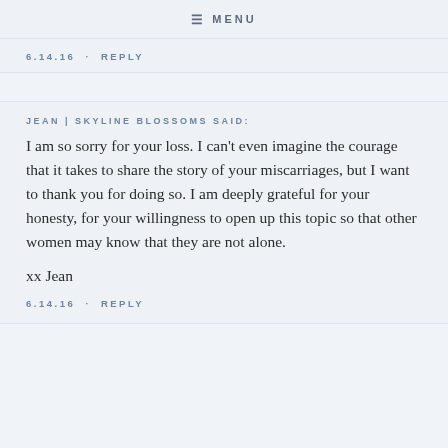≡ MENU
6.14.16 · REPLY
JEAN | SKYLINE BLOSSOMS SAID:
I am so sorry for your loss. I can't even imagine the courage that it takes to share the story of your miscarriages, but I want to thank you for doing so. I am deeply grateful for your honesty, for your willingness to open up this topic so that other women may know that they are not alone.

xx Jean
6.14.16 · REPLY